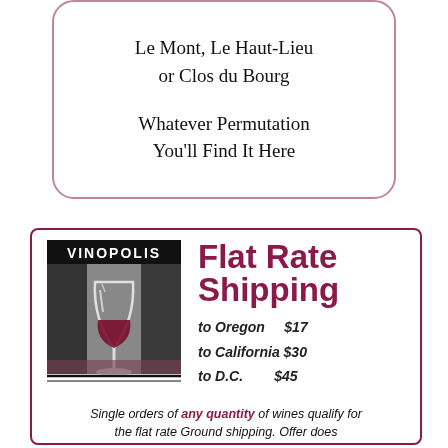Le Mont, Le Haut-Lieu
or Clos du Bourg

Whatever Permutation
You'll Find It Here
[Figure (logo): Vinopolis logo with stylized wine glass on dark background with the text VINOPOLIS]
Flat Rate Shipping

to Oregon $17
to California $30
to D.C. $45
Single orders of any quantity of wines qualify for the flat rate Ground shipping. Offer does